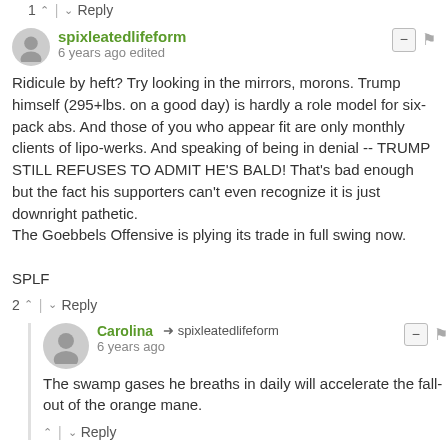1 ^ | v Reply
spixleatedlifeform
6 years ago edited
Ridicule by heft? Try looking in the mirrors, morons. Trump himself (295+lbs. on a good day) is hardly a role model for six-pack abs. And those of you who appear fit are only monthly clients of lipo-werks. And speaking of being in denial -- TRUMP STILL REFUSES TO ADMIT HE'S BALD! That's bad enough but the fact his supporters can't even recognize it is just downright pathetic.
The Goebbels Offensive is plying its trade in full swing now.

SPLF
2 ^ | v Reply
Carolina → spixleatedlifeform
6 years ago
The swamp gases he breaths in daily will accelerate the fall-out of the orange mane.
^ | v Reply